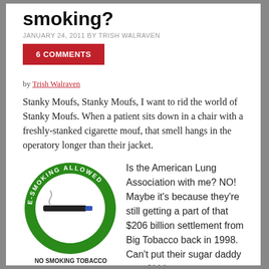smoking?
JANUARY 24, 2011 BY TRISH WALRAVEN
6 COMMENTS
by Trish Walraven
Stanky Moufs, Stanky Moufs, I want to rid the world of Stanky Moufs. When a patient sits down in a chair with a freshly-stanked cigarette mouf, that smell hangs in the operatory longer than their jacket.
[Figure (illustration): Green circular sign reading E-SMOKING ALLOWED ON PREMISES with an e-cigarette illustration in the center]
NO SMOKING TOBACCO
The use of Electronic Cigarettes is legal and permitted where traditional smoking
Is the American Lung Association with me? NO! Maybe it's because they're still getting a part of that $206 billion settlement from Big Tobacco back in 1998. Can't put their sugar daddy out of bidness.
Well then, is the government with